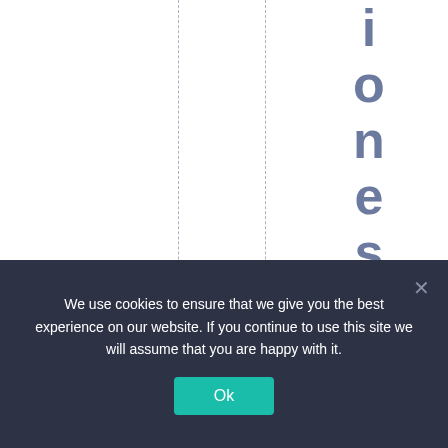[Figure (other): White background with two dashed vertical lines and large bold rotated/stacked letters spelling 'ionescalat' vertically in steel blue color]
We use cookies to ensure that we give you the best experience on our website. If you continue to use this site we will assume that you are happy with it.